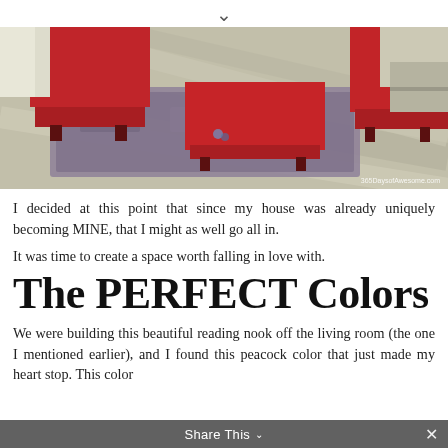[Figure (photo): Interior living room photo showing red chairs and ottoman on a grey/purple area rug over light wood-tone striped flooring. Watermark reads '365DaysofAwesome.com']
I decided at this point that since my house was already uniquely becoming MINE, that I might as well go all in.
It was time to create a space worth falling in love with.
The PERFECT Colors
We were building this beautiful reading nook off the living room (the one I mentioned earlier), and I found this peacock color that just made my heart stop. This color
Share This